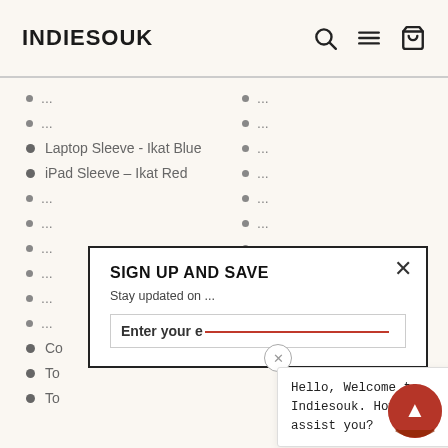INDIESOUK
...
...
Laptop Sleeve - Ikat Blue
iPad Sleeve – Ikat Red
...
...
...
...
...
...
...
...
Co...
To...
To...
[Figure (screenshot): Sign up and save modal popup with email input and close button]
Hello, Welcome to Indiesouk. How may I assist you?